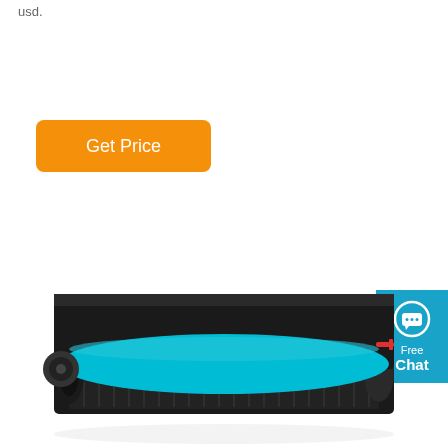usd.
Get Price
[Figure (other): Blue chat widget button with speech bubble icon, labeled 'Free Chat']
[Figure (photo): Toner cartridge with black casing and cyan/blue drum roller, shown from the side with a slight reflection below]